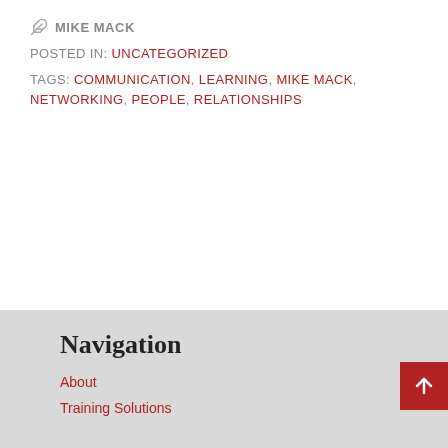MIKE MACK
POSTED IN: UNCATEGORIZED
TAGS: COMMUNICATION, LEARNING, MIKE MACK, NETWORKING, PEOPLE, RELATIONSHIPS
Navigation
About
Training Solutions